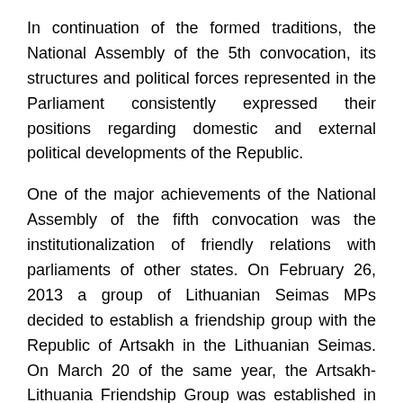In continuation of the formed traditions, the National Assembly of the 5th convocation, its structures and political forces represented in the Parliament consistently expressed their positions regarding domestic and external political developments of the Republic.
One of the major achievements of the National Assembly of the fifth convocation was the institutionalization of friendly relations with parliaments of other states. On February 26, 2013 a group of Lithuanian Seimas MPs decided to establish a friendship group with the Republic of Artsakh in the Lithuanian Seimas. On March 20 of the same year, the Artsakh-Lithuania Friendship Group was established in the National Assembly of the NKR.
The creation on March 19, 2013 of the "France-Artsakh" Friendship Circle strengthened the correct vector of